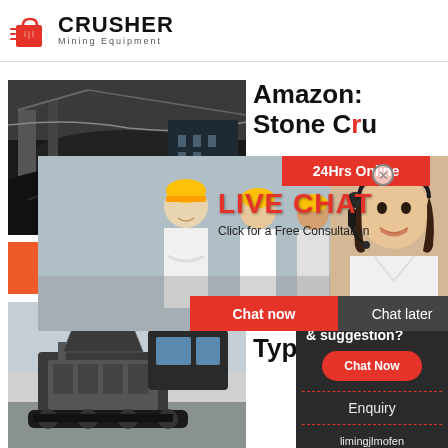[Figure (logo): Crusher Mining Equipment logo with red shopping bag icon and bold CRUSHER text]
[Figure (photo): Coal mining industrial site with dark material and overhead cables]
Amazon: Stone Crusher
[Figure (photo): Live chat overlay with workers in hard hats and customer service representative with headset. Contains LIVE CHAT headline, 24Hrs Online badge, Chat now and Chat later buttons.]
Click for a Free Consultation
[Figure (photo): Read More button in orange over product image]
[Figure (photo): China stone crusher / heavy machinery equipment photo]
China Type of Crusher
[Figure (infographic): Sidebar panel with Need questions & suggestion?, Chat Now oval button, Enquiry link, and limingjlmofen@sina.com contact]